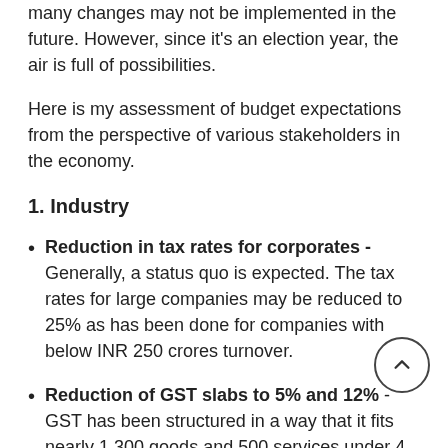many changes may not be implemented in the future. However, since it's an election year, the air is full of possibilities.
Here is my assessment of budget expectations from the perspective of various stakeholders in the economy.
1. Industry
Reduction in tax rates for corporates - Generally, a status quo is expected. The tax rates for large companies may be reduced to 25% as has been done for companies with below INR 250 crores turnover.
Reduction of GST slabs to 5% and 12% - GST has been structured in a way that it fits nearly 1,300 goods and 500 services under 4 slabs, 5%, 12%, 18% and 28% respectively. GST streamlining by way of reduction to two slabs is a long-standing demand of